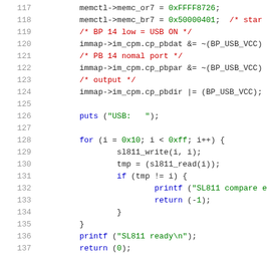[Figure (screenshot): Source code listing lines 117-137 of a C program showing memory controller initialization, USB configuration, and SL811 USB chip read/write test routine. Syntax highlighted with blue keywords, green string/number literals, and red comments.]